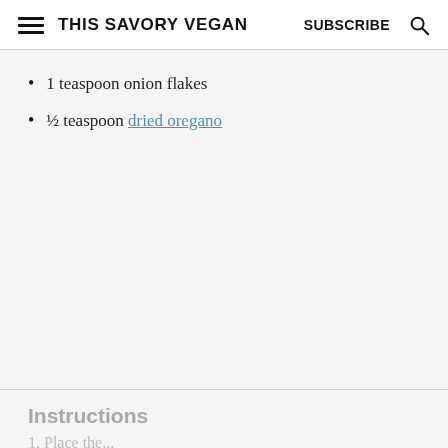THIS SAVORY VEGAN | SUBSCRIBE
1 teaspoon onion flakes
½ teaspoon dried oregano
Instructions
1. Place the...